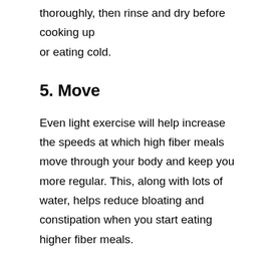thoroughly, then rinse and dry before cooking up or eating cold.
5. Move
Even light exercise will help increase the speeds at which high fiber meals move through your body and keep you more regular. This, along with lots of water, helps reduce bloating and constipation when you start eating higher fiber meals.
6. Chew Some More
This may seem like an obvious tip, but I think it's worth mentioning. Digestion starts in your mouth when saliva